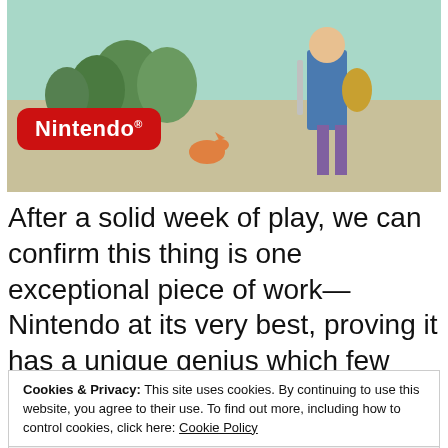[Figure (screenshot): YouTube video thumbnail showing Nintendo game footage (Legend of Zelda: Breath of the Wild) with a YouTube play button at top and Nintendo logo badge at bottom left.]
After a solid week of play, we can confirm this thing is one exceptional piece of work—Nintendo at its very best, proving it has a unique genius which few other companies can match.
Cookies & Privacy: This site uses cookies. By continuing to use this website, you agree to their use. To find out more, including how to control cookies, click here: Cookie Policy
Accept & Close
and adds in a colossal open world.